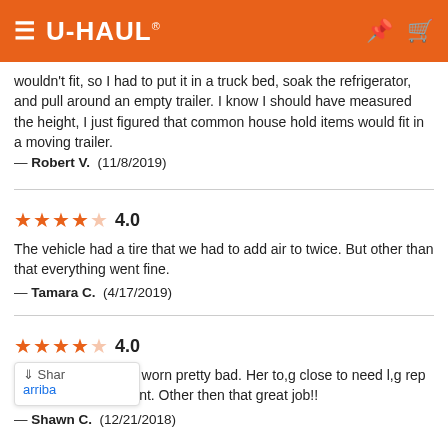U-HAUL
wouldn't fit, so I had to put it in a truck bed, soak the refrigerator, and pull around an empty trailer. I know I should have measured the height, I just figured that common house hold items would fit in a moving trailer.
— Robert V.  (11/8/2019)
★★★★☆ 4.0
The vehicle had a tire that we had to add air to twice. But other than that everything went fine.
— Tamara C.  (4/17/2019)
★★★★☆ 4.0
The tire straps were worn pretty bad. Her to,g close to need l,g replacement. Other then that great job!!
— Shawn C.  (12/21/2018)